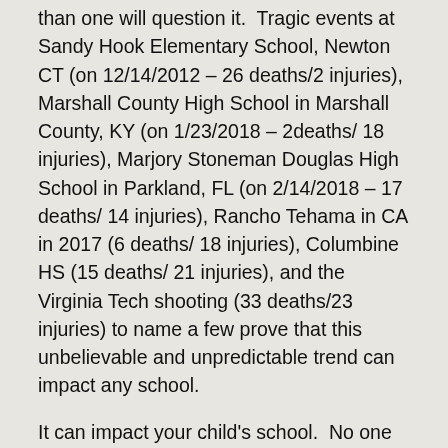than one will question it. Tragic events at Sandy Hook Elementary School, Newton CT (on 12/14/2012 – 26 deaths/2 injuries), Marshall County High School in Marshall County, KY (on 1/23/2018 – 2deaths/ 18 injuries), Marjory Stoneman Douglas High School in Parkland, FL (on 2/14/2018 – 17 deaths/ 14 injuries), Rancho Tehama in CA in 2017 (6 deaths/ 18 injuries), Columbine HS (15 deaths/ 21 injuries), and the Virginia Tech shooting (33 deaths/23 injuries) to name a few prove that this unbelievable and unpredictable trend can impact any school.
It can impact your child's school. No one really wants to hear it, but we all have to. The time has come to act. We do not need any more victims. We do not want to bury any more children, innocent children, children that we parents, we adults, have failed to protect. The hardest part seems to be the lack of